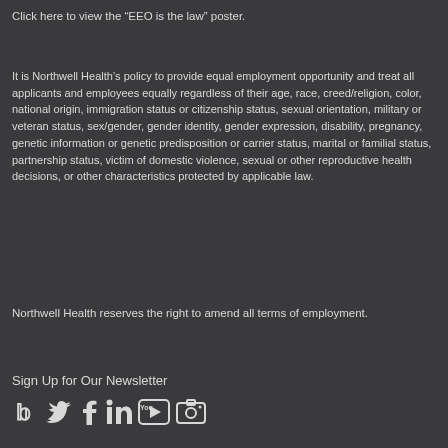Click here to view the “EEO is the law” poster.
It is Northwell Health’s policy to provide equal employment opportunity and treat all applicants and employees equally regardless of their age, race, creed/religion, color, national origin, immigration status or citizenship status, sexual orientation, military or veteran status, sex/gender, gender identity, gender expression, disability, pregnancy, genetic information or genetic predisposition or carrier status, marital or familial status, partnership status, victim of domestic violence, sexual or other reproductive health decisions, or other characteristics protected by applicable law.
Northwell Health reserves the right to amend all terms of employment.
Sign Up for Our Newsletter
[Figure (other): Social media icons: Twitter, Facebook, LinkedIn, YouTube, Instagram/camera]